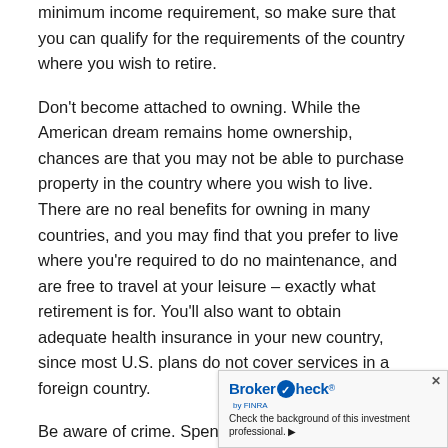minimum income requirement, so make sure that you can qualify for the requirements of the country where you wish to retire.
Don't become attached to owning. While the American dream remains home ownership, chances are that you may not be able to purchase property in the country where you wish to live. There are no real benefits for owning in many countries, and you may find that you prefer to live where you're required to do no maintenance, and are free to travel at your leisure – exactly what retirement is for. You'll also want to obtain adequate health insurance in your new country, since most U.S. plans do not cover services in a foreign country.
Be aware of crime. Spend some time educa